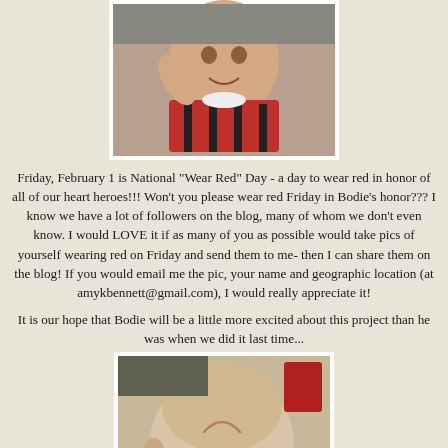[Figure (photo): A smiling toddler in a red costume, being held up, photo with white border]
Friday, February 1 is National "Wear Red" Day - a day to wear red in honor of all of our heart heroes!!! Won't you please wear red Friday in Bodie's honor??? I know we have a lot of followers on the blog, many of whom we don't even know. I would LOVE it if as many of you as possible would take pics of yourself wearing red on Friday and send them to me- then I can share them on the blog! If you would email me the pic, your name and geographic location (at amykbennett@gmail.com), I would really appreciate it!
It is our hope that Bodie will be a little more excited about this project than he was when we did it last time...
[Figure (photo): Back of a baby's head showing a scar, red items visible in background]